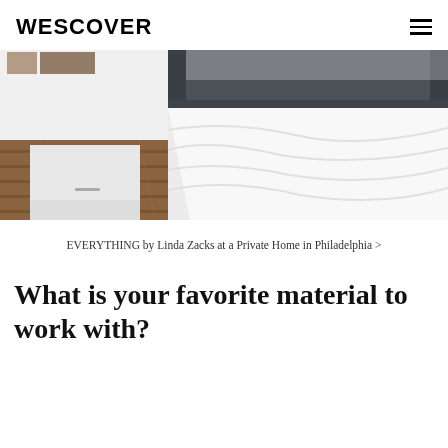WESCOVER
[Figure (photo): Bedroom photo showing a bed with white bedding and a dark grey upholstered headboard, with wooden flooring and white bedside furniture visible on the left side.]
EVERYTHING by Linda Zacks at a Private Home in Philadelphia >
What is your favorite material to work with?